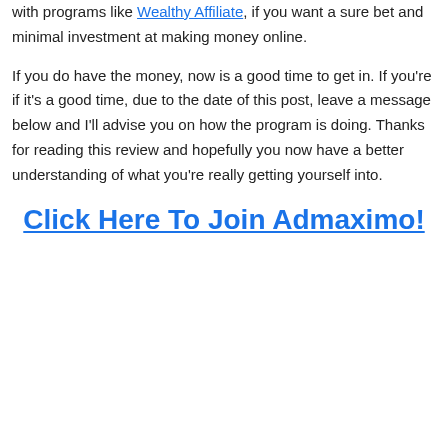with programs like Wealthy Affiliate, if you want a sure bet and minimal investment at making money online.
If you do have the money, now is a good time to get in. If you're if it's a good time, due to the date of this post, leave a message below and I'll advise you on how the program is doing. Thanks for reading this review and hopefully you now have a better understanding of what you're really getting yourself into.
Click Here To Join Admaximo!